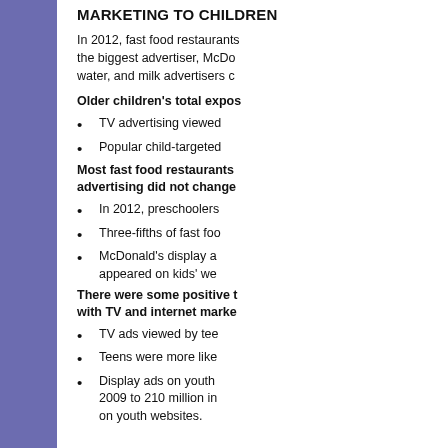MARKETING TO CHILDREN
In 2012, fast food restaurants the biggest advertiser, McDonald's, water, and milk advertisers c...
Older children's total expos...
TV advertising viewed...
Popular child-targeted...
Most fast food restaurants advertising did not change...
In 2012, preschoolers...
Three-fifths of fast foo...
McDonald's display a... appeared on kids' we...
There were some positive t... with TV and internet marke...
TV ads viewed by tee...
Teens were more like...
Display ads on youth... 2009 to 210 million in... on youth websites.